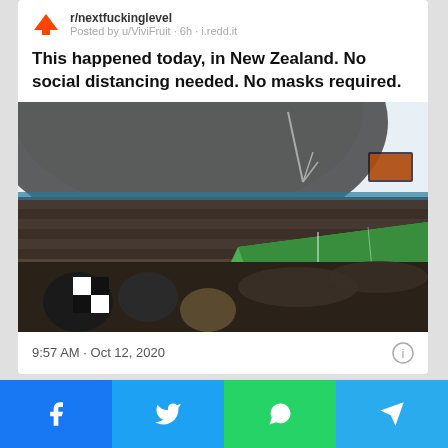[Figure (screenshot): Reddit post from r/nextfuckinglevel, posted by u/ViviFruit, 6h, i.redd.it, with upvote arrow icon. Tweet text reads: 'This happened today, in New Zealand. No social distancing needed. No masks required.' Below is a photo of a packed stadium (Australasian football match) with thousands of fans and green pitch visible. Timestamp: 9:57 AM · Oct 12, 2020 with info icon.]
9:57 AM · Oct 12, 2020
[Figure (infographic): Share bar at bottom with four buttons: Facebook (blue), Twitter (light blue), WhatsApp (green), Telegram (blue)]